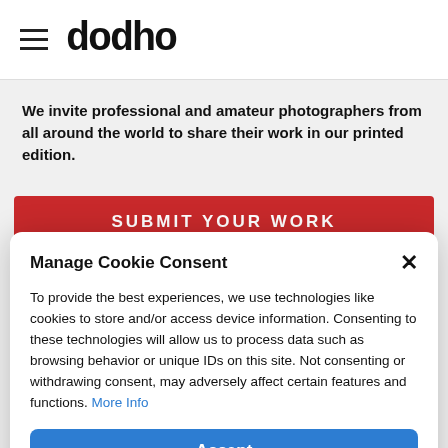dodho
We invite professional and amateur photographers from all around the world to share their work in our printed edition.
[Figure (screenshot): Red button with text SUBMIT YOUR WORK]
Manage Cookie Consent
To provide the best experiences, we use technologies like cookies to store and/or access device information. Consenting to these technologies will allow us to process data such as browsing behavior or unique IDs on this site. Not consenting or withdrawing consent, may adversely affect certain features and functions. More Info
Accept